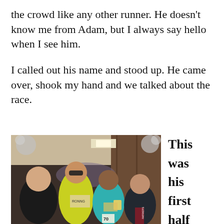the crowd like any other runner. He doesn't know me from Adam, but I always say hello when I see him.
I called out his name and stood up. He came over, shook my hand and we talked about the race.
[Figure (photo): Four people posing and smiling together at what appears to be a race post-event celebration. One person is wearing a yellow running top with race bib, another is wearing a Patriots jacket. There are decorative silver pom-poms visible in the background.]
This was his first half since open- heart